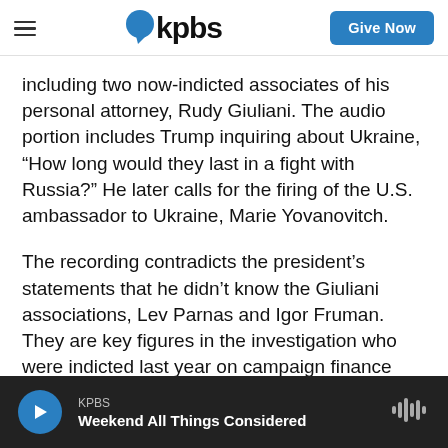kpbs | Give Now
including two now-indicted associates of his personal attorney, Rudy Giuliani. The audio portion includes Trump inquiring about Ukraine, “How long would they last in a fight with Russia?” He later calls for the firing of the U.S. ambassador to Ukraine, Marie Yovanovitch.
The recording contradicts the president’s statements that he didn’t know the Giuliani associations, Lev Parnas and Igor Fruman. They are key figures in the investigation who were indicted last year on campaign finance charges.
KPBS
Weekend All Things Considered